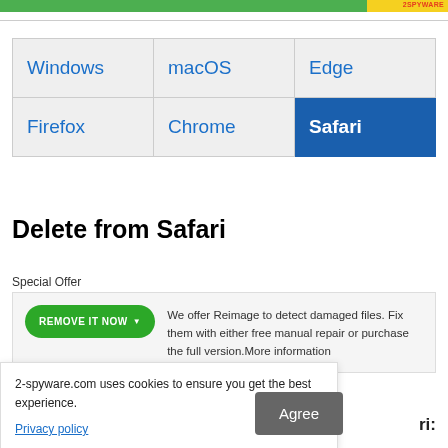[Figure (screenshot): Header bar with green and yellow gradient and 2SPYWARE logo text in red]
| Windows | macOS | Edge |
| Firefox | Chrome | Safari (active) |
Delete from Safari
Special Offer
We offer Reimage to detect damaged files. Fix them with either free manual repair or purchase the full version.More information
2-spyware.com uses cookies to ensure you get the best experience.
Privacy policy
Agree
ri: